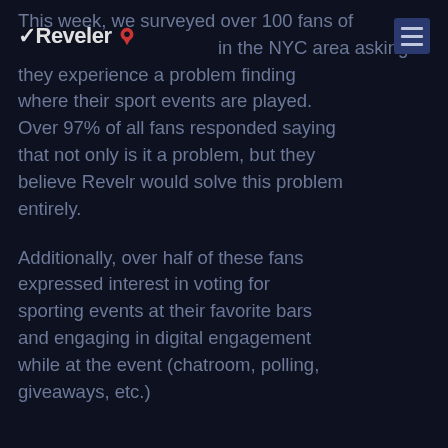Reveler
This week, we surveyed over 100 fans of in the NYC area asking if they experience a problem finding where their sport events are played. Over 97% of all fans responded saying that not only is it a problem, but they believe Revelr would solve this problem entirely.
Additionally, over half of these fans expressed interest in voting for sporting events at their favorite bars and engaging in digital engagement while at the event (chatroom, polling, giveaways, etc.)